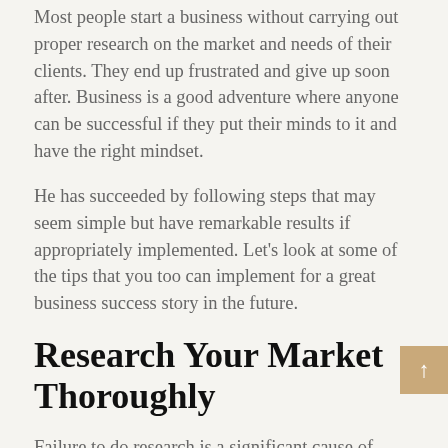Most people start a business without carrying out proper research on the market and needs of their clients. They end up frustrated and give up soon after. Business is a good adventure where anyone can be successful if they put their minds to it and have the right mindset.
He has succeeded by following steps that may seem simple but have remarkable results if appropriately implemented. Let's look at some of the tips that you too can implement for a great business success story in the future.
Research Your Market Thoroughly
Failure to do research is a significant cause of failure for business persons. When starting, it is best to research what is lacking in the market, what your competitors are missing, and where they are going wrong. Learning your target market pain points will give you an edge for success. Take